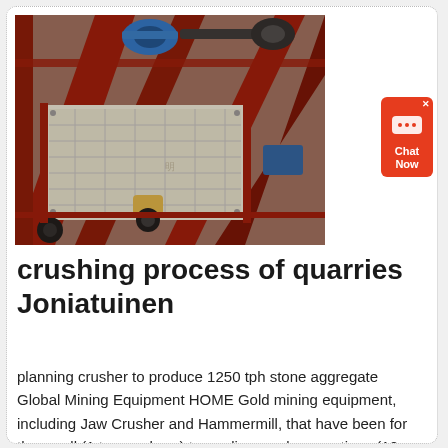[Figure (photo): Overhead view of a quarry/mining crushing machine with red steel frame structure, blue motor/pulley at top, and a large vibrating screen or grizzly feeder with white/cream colored deck panels, photographed from above at an angle.]
crushing process of quarries Joniatuinen
planning crusher to produce 1250 tph stone aggregate Global Mining Equipment HOME Gold mining equipment, including Jaw Crusher and Hammermill, that have been for the small (1 ton per hour) to medium scale operations (10+